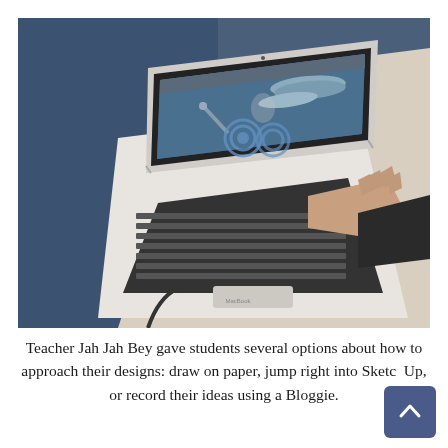[Figure (photo): A student typing on a MacBook Air laptop showing a 3D modeling application (SketchUp) with pencil-like 3D shapes on the screen. The laptop sits on a white desk with a blue carpeted floor visible. The student's hands are on the keyboard, wearing a dark jacket sleeve.]
Teacher Jah Jah Bey gave students several options about how to approach their designs: draw on paper, jump right into SketchUp, or record their ideas using a Bloggie.